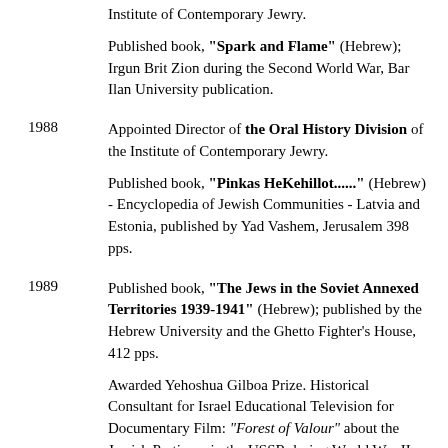Institute of Contemporary Jewry.
Published book, "Spark and Flame" (Hebrew); Irgun Brit Zion during the Second World War, Bar Ilan University publication.
1988
Appointed Director of the Oral History Division of the Institute of Contemporary Jewry.
Published book, "Pinkas HeKehillot......" (Hebrew) - Encyclopedia of Jewish Communities - Latvia and Estonia, published by Yad Vashem, Jerusalem 398 pps.
1989
Published book, "The Jews in the Soviet Annexed Territories 1939-1941" (Hebrew); published by the Hebrew University and the Ghetto Fighter's House, 412 pps.
Awarded Yehoshua Gilboa Prize. Historical Consultant for Israel Educational Television for Documentary Film: "Forest of Valour" about the Jewish Partisans in the USSR during World War II.
Delivered paper at the University of Haifa, "The Shoah and the War - Unique Characteristics of Soviet..."